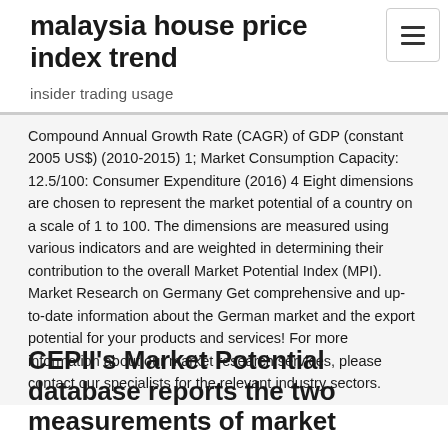malaysia house price index trend
insider trading usage
Compound Annual Growth Rate (CAGR) of GDP (constant 2005 US$) (2010-2015) 1; Market Consumption Capacity: 12.5/100: Consumer Expenditure (2016) 4 Eight dimensions are chosen to represent the market potential of a country on a scale of 1 to 100. The dimensions are measured using various indicators and are weighted in determining their contribution to the overall Market Potential Index (MPI). Market Research on Germany Get comprehensive and up-to-date information about the German market and the export potential for your products and services! For more information about our market research services, please contact our specialists for the relevant industry sectors.
CEPII's Market Potential database reports the two measurements of market